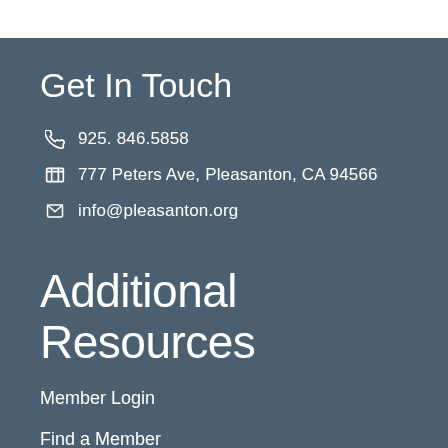Get In Touch
925. 846.5858
777 Peters Ave, Pleasanton, CA 94566
info@pleasanton.org
Additional Resources
Member Login
Find a Member
Join Today